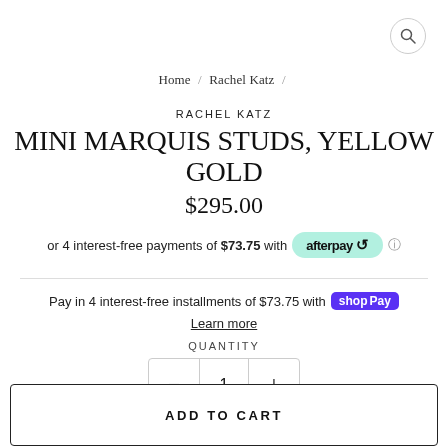[Figure (other): Search icon (magnifying glass) in top-right corner circle]
Home / Rachel Katz /
RACHEL KATZ
MINI MARQUIS STUDS, YELLOW GOLD
$295.00
or 4 interest-free payments of $73.75 with afterpay
Pay in 4 interest-free installments of $73.75 with Shop Pay
Learn more
QUANTITY
- 1 +
ADD TO CART